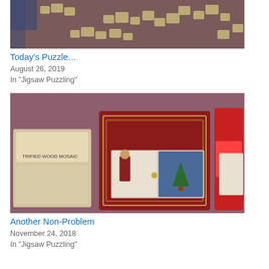[Figure (photo): Jigsaw puzzle pieces scattered on a dark reddish-brown surface, some pieces placed together forming partial golden/light colored shapes]
Today's Puzzle…
August 26, 2019
In "Jigsaw Puzzling"
[Figure (photo): Christmas-themed jigsaw puzzle boxes on a mauve/pink surface, including a red book-shaped box with a Nutcracker design, a Petrified Wood Mosaic box, and other puzzle boxes]
Another Non-Problem
November 24, 2018
In "Jigsaw Puzzling"